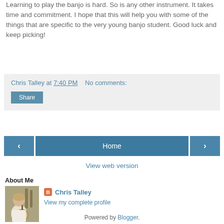Learning to play the banjo is hard. So is any other instrument. It takes time and commitment. I hope that this will help you with some of the things that are specific to the very young banjo student. Good luck and keep picking!
Chris Talley at 7:40 PM    No comments:
Share
‹
Home
›
View web version
About Me
[Figure (photo): Profile photo of Chris Talley holding a banjo and other instruments]
Chris Talley
View my complete profile
Powered by Blogger.